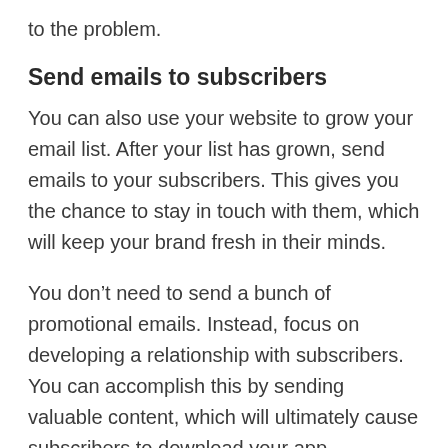to the problem.
Send emails to subscribers
You can also use your website to grow your email list. After your list has grown, send emails to your subscribers. This gives you the chance to stay in touch with them, which will keep your brand fresh in their minds.
You don’t need to send a bunch of promotional emails. Instead, focus on developing a relationship with subscribers. You can accomplish this by sending valuable content, which will ultimately cause subscribers to download your app.
Now that we’ve come to the end of this article,